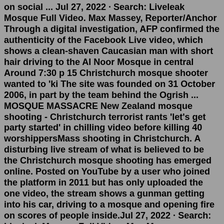on social ... Jul 27, 2022 · Search: Liveleak Mosque Full Video. Max Massey, Reporter/Anchor Through a digital investigation, AFP confirmed the authenticity of the Facebook Live video, which shows a clean-shaven Caucasian man with short hair driving to the Al Noor Mosque in central Around 7:30 p 15 Christchurch mosque shooter wanted to 'ki The site was founded on 31 October 2006, in part by the team behind the Ogrish ... MOSQUE MASSACRE New Zealand mosque shooting - Christchurch terrorist rants 'let's get party started' in chilling video before killing 40 worshippersMass shooting in Christchurch. A disturbing live stream of what is believed to be the Christchurch mosque shooting has emerged online. Posted on YouTube by a user who joined the platform in 2011 but has only uploaded the one video, the stream shows a gunman getting into his car, driving to a mosque and opening fire on scores of people inside.Jul 27, 2022 · Search: Liveleak Mosque Full Video. Max Massey, Reporter/Anchor Through a digital investigation, AFP confirmed the authenticity